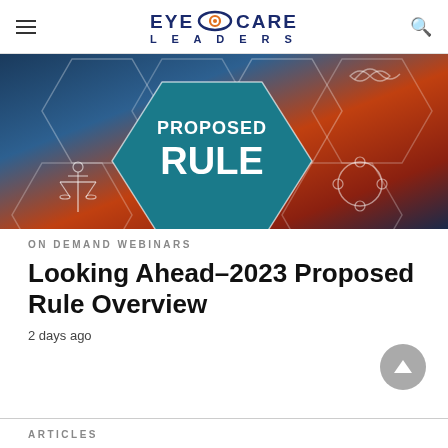EYE CARE LEADERS
[Figure (photo): Dark blue hexagonal pattern background with 'PROPOSED RULE' text in center teal hexagon, icons for legal scales and circular chain around it, glowing light effect]
ON DEMAND WEBINARS
Looking Ahead–2023 Proposed Rule Overview
2 days ago
ARTICLES